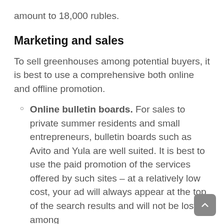amount to 18,000 rubles.
Marketing and sales
To sell greenhouses among potential buyers, it is best to use a comprehensive both online and offline promotion.
Online bulletin boards. For sales to private summer residents and small entrepreneurs, bulletin boards such as Avito and Yula are well suited. It is best to use the paid promotion of the services offered by such sites – at a relatively low cost, your ad will always appear at the top of the search results and will not be lost among other similar offers.